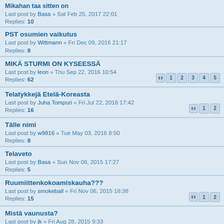Mikahan taa sitten on
Last post by Basa « Sat Feb 25, 2017 22:01
Replies: 10
PST osumien vaikutus
Last post by Wittmann « Fri Dec 09, 2016 21:17
Replies: 8
MIKÄ STURMI ON KYSEESSÄ
Last post by leon « Thu Sep 22, 2016 10:54
Replies: 62
Telatykkejä Etelä-Koreasta
Last post by Juha Tompuri « Fri Jul 22, 2016 17:42
Replies: 16
Tälle nimi
Last post by w9816 « Tue May 03, 2016 8:50
Replies: 8
Telaveto
Last post by Basa « Sun Nov 08, 2015 17:27
Replies: 5
Ruumiittenkokoamiskauha???
Last post by smokeball « Fri Nov 06, 2015 18:38
Replies: 15
Mistä vaunusta?
Last post by jk « Fri Aug 28, 2015 9:33
Replies: 1
t 34-85 myynnissä
Last post by freedomfighter « Mon Apr 13, 2015 10:56
Replies: 1